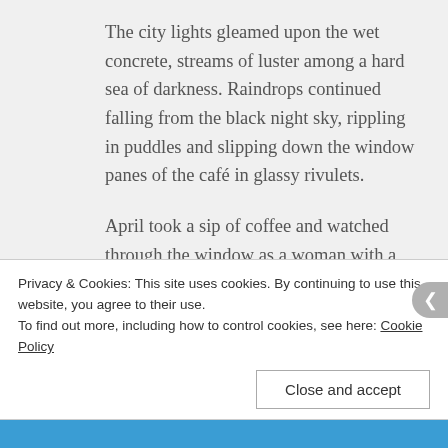The city lights gleamed upon the wet concrete, streams of luster among a hard sea of darkness. Raindrops continued falling from the black night sky, rippling in puddles and slipping down the window panes of the café in glassy rivulets.
April took a sip of coffee and watched through the window as a woman with a black umbrella slipped an envelope into the blue USPS drop box along the sidewalk. What words were contained within the paper shell of the envelope? Did
Privacy & Cookies: This site uses cookies. By continuing to use this website, you agree to their use.
To find out more, including how to control cookies, see here: Cookie Policy